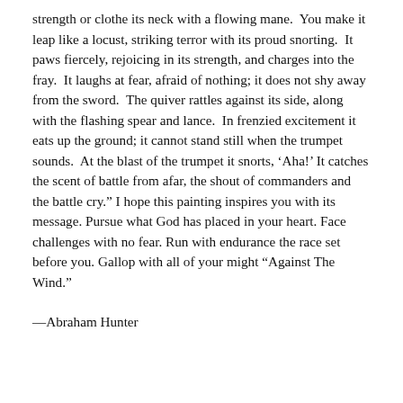strength or clothe its neck with a flowing mane.  You make it leap like a locust, striking terror with its proud snorting.  It paws fiercely, rejoicing in its strength, and charges into the fray.  It laughs at fear, afraid of nothing; it does not shy away from the sword.  The quiver rattles against its side, along with the flashing spear and lance.  In frenzied excitement it eats up the ground; it cannot stand still when the trumpet sounds.  At the blast of the trumpet it snorts, ‘Aha!’ It catches the scent of battle from afar, the shout of commanders and the battle cry.” I hope this painting inspires you with its message. Pursue what God has placed in your heart. Face challenges with no fear. Run with endurance the race set before you. Gallop with all of your might “Against The Wind.”
––Abraham Hunter